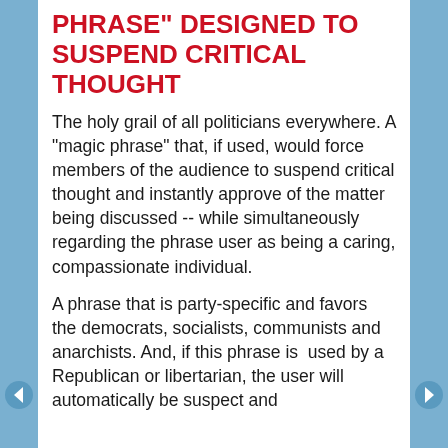PHRASE" DESIGNED TO SUSPEND CRITICAL THOUGHT
The holy grail of all politicians everywhere. A "magic phrase" that, if used, would force members of the audience to suspend critical thought and instantly approve of the matter being discussed -- while simultaneously regarding the phrase user as being a caring, compassionate individual.
A phrase that is party-specific and favors the democrats, socialists, communists and anarchists. And, if this phrase is  used by a Republican or libertarian, the user will automatically be suspect and